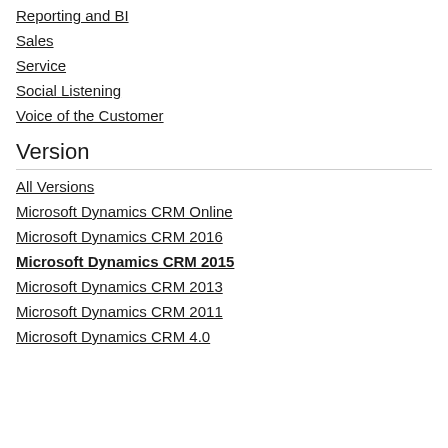Reporting and BI
Sales
Service
Social Listening
Voice of the Customer
Version
All Versions
Microsoft Dynamics CRM Online
Microsoft Dynamics CRM 2016
Microsoft Dynamics CRM 2015
Microsoft Dynamics CRM 2013
Microsoft Dynamics CRM 2011
Microsoft Dynamics CRM 4.0